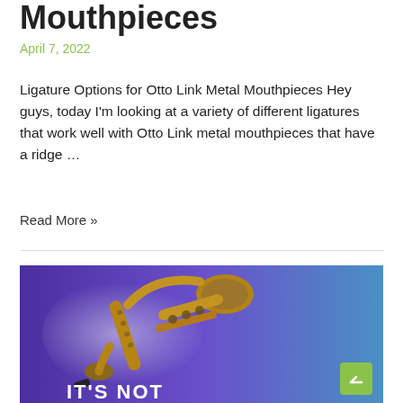Mouthpieces
April 7, 2022
Ligature Options for Otto Link Metal Mouthpieces Hey guys, today I'm looking at a variety of different ligatures that work well with Otto Link metal mouthpieces that have a ridge …
Read More »
[Figure (photo): Promotional image of a saxophone on a purple-blue gradient background with text 'IT'S NOT' at the bottom, and a scroll-to-top button overlay.]